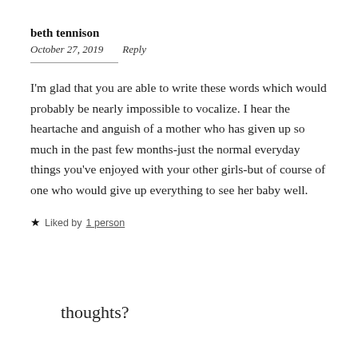beth tennison
October 27, 2019    Reply
I'm glad that you are able to write these words which would probably be nearly impossible to vocalize. I hear the heartache and anguish of a mother who has given up so much in the past few months-just the normal everyday things you've enjoyed with your other girls-but of course of one who would give up everything to see her baby well.
★ Liked by 1 person
thoughts?